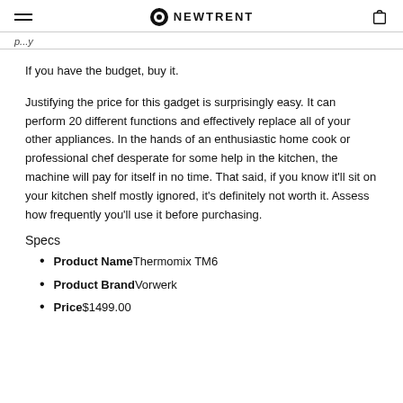NEWTRENT
p...y
If you have the budget, buy it.
Justifying the price for this gadget is surprisingly easy. It can perform 20 different functions and effectively replace all of your other appliances. In the hands of an enthusiastic home cook or professional chef desperate for some help in the kitchen, the machine will pay for itself in no time. That said, if you know it'll sit on your kitchen shelf mostly ignored, it's definitely not worth it. Assess how frequently you'll use it before purchasing.
Specs
Product NameThermomix TM6
Product BrandVorwerk
Price$1499.00